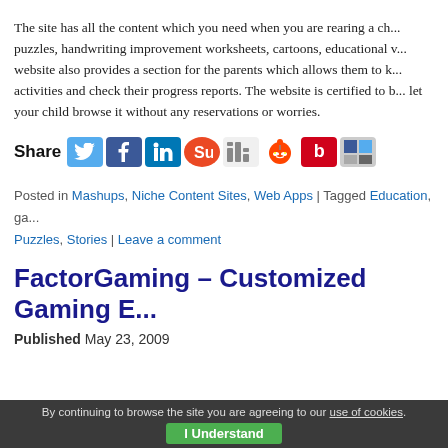The site has all the content which you need when you are rearing a ch... puzzles, handwriting improvement worksheets, cartoons, educational v... website also provides a section for the parents which allows them to k... activities and check their progress reports. The website is certified to b... let your child browse it without any reservations or worries.
[Figure (infographic): Share bar with social media icons: Twitter, Facebook, LinkedIn, StumbleUpon, Digg, Reddit, BV, Delicious]
Posted in Mashups, Niche Content Sites, Web Apps | Tagged Education, ga... Puzzles, Stories | Leave a comment
FactorGaming – Customized Gaming E...
Published May 23, 2009
By continuing to browse the site you are agreeing to our use of cookies. I Understand